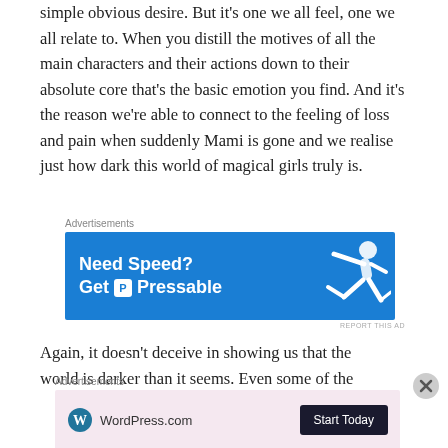simple obvious desire. But it's one we all feel, one we all relate to. When you distill the motives of all the main characters and their actions down to their absolute core that's the basic emotion you find. And it's the reason we're able to connect to the feeling of loss and pain when suddenly Mami is gone and we realise just how dark this world of magical girls truly is.
[Figure (infographic): Advertisement banner for Pressable hosting: blue background with 'Need Speed? Get Pressable' text and a figure of a person running/flying.]
Again, it doesn't deceive in showing us that the world is darker than it seems. Even some of the
[Figure (infographic): Advertisement banner for WordPress.com with pink/lavender background showing WordPress logo and 'Start Today' button.]